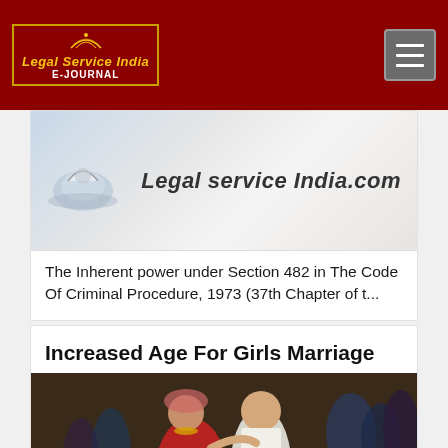Legal Service India E-Journal
[Figure (screenshot): Website screenshot showing Legal service India.com banner image for article about inherent power under Section 482]
The Inherent power under Section 482 in The Code Of Criminal Procedure, 1973 (37th Chapter of t...
Increased Age For Girls Marriage
[Figure (photo): Photo of a traditional Indian wedding ceremony with bride and groom in colorful attire]